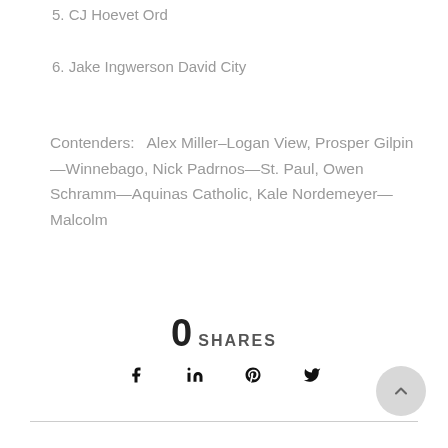5. CJ Hoevet Ord
6. Jake Ingwerson David City
Contenders:   Alex Miller–Logan View, Prosper Gilpin—Winnebago, Nick Padrnos—St. Paul, Owen Schramm—Aquinas Catholic, Kale Nordemeyer—Malcolm
0  SHARES
[Figure (infographic): Social share icons: Facebook, LinkedIn, Pinterest, Twitter]